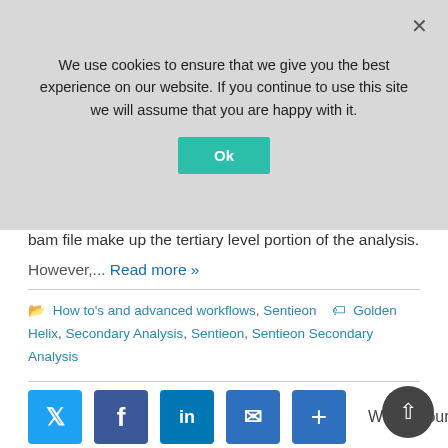We use cookies to ensure that we give you the best experience on our website. If you continue to use this site we will assume that you are happy with it.
bam file make up the tertiary level portion of the analysis.
However,... Read more »
How to's and advanced workflows, Sentieon   Golden Helix, Secondary Analysis, Sentieon, Sentieon Secondary Analysis
Sentieon's Secondary Analysis Tools Explained
September 12, 2017
We find ourselves talking